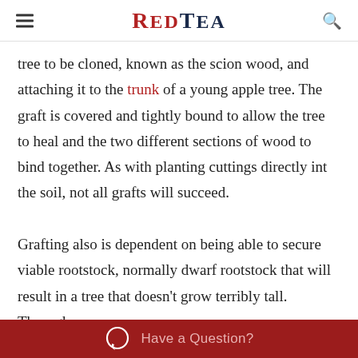RED TEA
tree to be cloned, known as the scion wood, and attaching it to the trunk of a young apple tree. The graft is covered and tightly bound to allow the tree to heal and the two different sections of wood to bind together. As with planting cuttings directly int the soil, not all grafts will succeed.

Grafting also is dependent on being able to secure viable rootstock, normally dwarf rootstock that will result in a tree that doesn't grow terribly tall. Through
Have a Question?